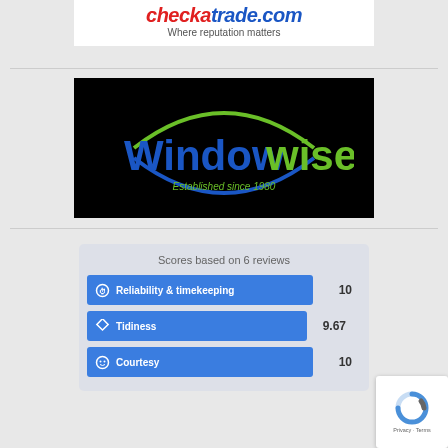[Figure (logo): Checkatrade.com logo with tagline 'Where reputation matters']
[Figure (logo): Windowwise logo on black background with text 'Established since 1980']
Scores based on 6 reviews
[Figure (bar-chart): Scores based on 6 reviews]